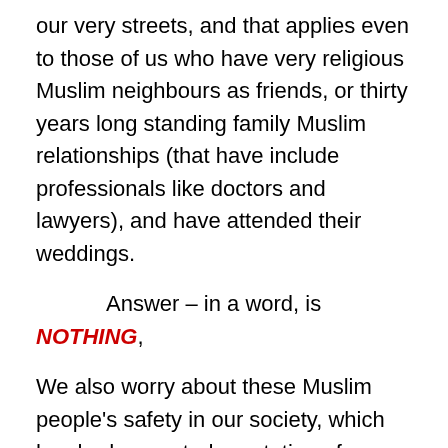our very streets, and that applies even to those of us who have very religious Muslim neighbours as friends, or thirty years long standing family Muslim relationships (that have include professionals like doctors and lawyers), and have attended their weddings.
Answer – in a word, is NOTHING,
We also worry about these Muslim people's safety in our society, which has had a reputed reputation of renowned tolerance to all races, cultures, and religions, but is now infested with some Islam revenge intending individuals. Last year there was indeed the dreadful British terrorist outrage [London Finsbury Park van attack on Muslim worshippers leaving Finsbury Park Mosque (one terrorism-related murder and other attempted murders)].
Further...